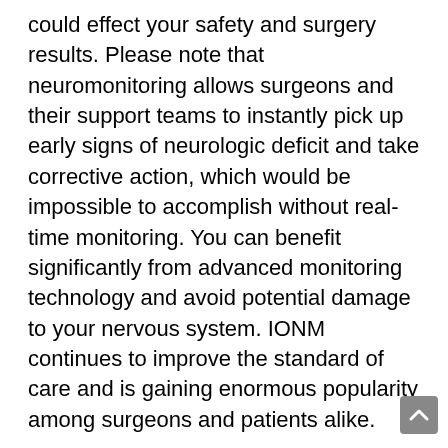could effect your safety and surgery results. Please note that neuromonitoring allows surgeons and their support teams to instantly pick up early signs of neurologic deficit and take corrective action, which would be impossible to accomplish without real-time monitoring. You can benefit significantly from advanced monitoring technology and avoid potential damage to your nervous system. IONM continues to improve the standard of care and is gaining enormous popularity among surgeons and patients alike.
4. Get in Shape Before Surgery.
This one is a no-brainer…The healthier you are going into surgery, the faster you will heal and get back on